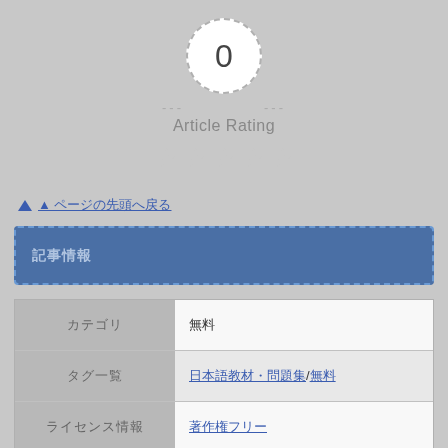[Figure (other): Article rating widget showing 0 rating in a dashed circle, dashes on either side, 'Article Rating' label, and 5 empty/grey stars below]
▲ [back to top link text in Japanese]
[Japanese section header text]
| [Japanese label] | [Japanese value] |
| [Japanese label] | [Japanese link]/[Japanese] |
| [Japanese label] | [Japanese link] |
| [Japanese label] | [Japanese]2017/03/07  [Japanese]2020/05/16 (stamp: 102 ) |